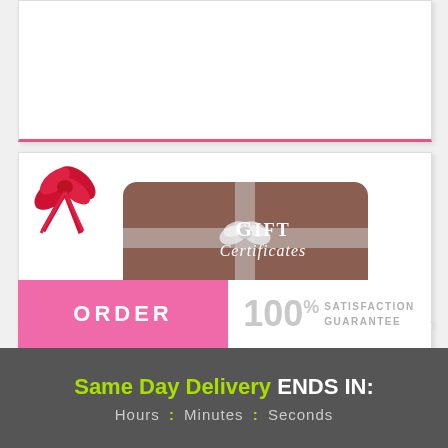[Figure (illustration): Gift Certificates banner with a red bow ribbon in top-left corner and a brown rounded rectangle badge with white ribbon and bow and 'Gift Certificates' text in white]
Gift Certificate +$40.00
Gift Certificate +$45.00
Gift Certificate +$50.00
ORDER
100% SATISFACTION GUARANTEE
Same Day Delivery ENDS IN:
Hours : Minutes : Seconds